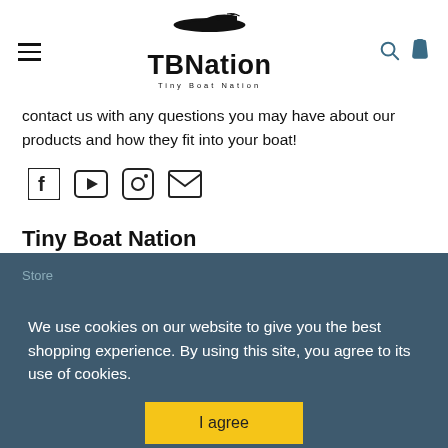[Figure (logo): TBNation Tiny Boat Nation logo with boat silhouette above bold text]
contact us with any questions you may have about our products and how they fit into your boat!
[Figure (infographic): Social media icons: Facebook, YouTube, Instagram, Email]
Tiny Boat Nation
Store
Join Tin Can Crew
Podcast
Tiny Boat Mentors
Fishing Mentors
Need Help? Contact Us
We use cookies on our website to give you the best shopping experience. By using this site, you agree to its use of cookies.